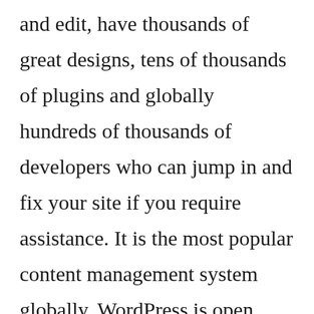and edit, have thousands of great designs, tens of thousands of plugins and globally hundreds of thousands of developers who can jump in and fix your site if you require assistance. It is the most popular content management system globally. WordPress is open source, free to use however there are premium themes and plugins and most importantly Google loves WordPress, it's great for marketing and SEO. We believe in practising what we preach, this very website you are looking at is a WordPress